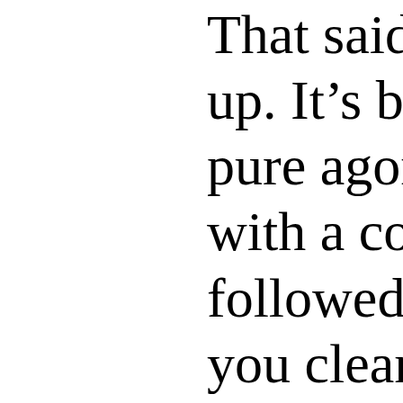That said, t up. It's bec pure agony with a coup followed by you clean t a red-letter letter to fri